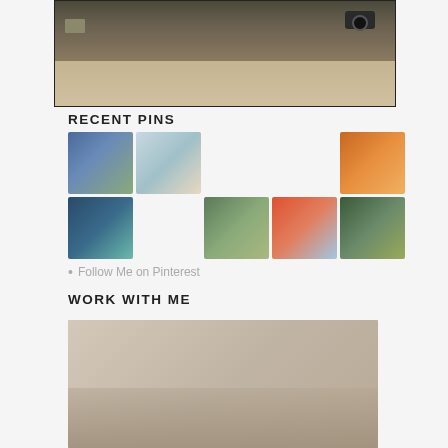[Figure (photo): Desk scene with camera and papers, shown inside a bordered box]
RECENT PINS
[Figure (photo): Grid of Pinterest pin images: street scene, water bottle pouring, warm restaurant interior, pool/trees, outdoor retreat, sunset over water, ivy-covered building]
Follow Me on Pinterest
WORK WITH ME
[Figure (photo): Interior room photo, partial view at bottom of page]